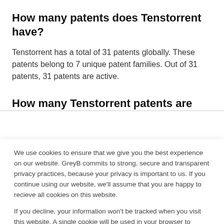How many patents does Tenstorrent have?
Tenstorrent has a total of 31 patents globally. These patents belong to 7 unique patent families. Out of 31 patents, 31 patents are active.
How many Tenstorrent patents are
We use cookies to ensure that we give you the best experience on our website. GreyB commits to strong, secure and transparent privacy practices, because your privacy is important to us. If you continue using our website, we'll assume that you are happy to recieve all cookies on this website.
If you decline, your information won't be tracked when you visit this website. A single cookie will be used in your browser to remember your preference not to be tracked.